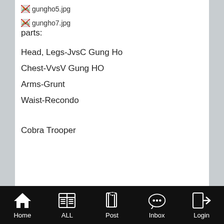[Figure (illustration): Broken image placeholder for gungho5.jpg]
[Figure (illustration): Broken image placeholder for gungho7.jpg]
parts:
Head, Legs-JvsC Gung Ho
Chest-VvsV Gung HO
Arms-Grunt
Waist-Recondo
Cobra Trooper
Home   ALL   Post   Inbox   Login